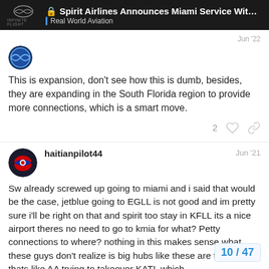🔒 Spirit Airlines Announces Miami Service With ... | Real World Aviation
This is expansion, don't see how this is dumb, besides, they are expanding in the South Florida region to provide more connections, which is a smart move.
haitianpilot44  Jun '21
Sw already screwed up going to miami and i said that would be the case, jetblue going to EGLL is not good and im pretty sure i'll be right on that and spirit too stay in KFLL its a nice airport theres no need to go to kmia for what? Petty connections to where? nothing in this makes sense what these guys don't realize is big hubs like these are they way thats like AA trying to takeover KATL which
10 / 47